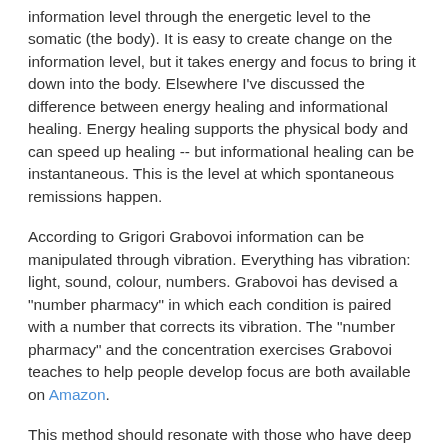information level through the energetic level to the somatic (the body). It is easy to create change on the information level, but it takes energy and focus to bring it down into the body. Elsewhere I've discussed the difference between energy healing and informational healing. Energy healing supports the physical body and can speed up healing -- but informational healing can be instantaneous. This is the level at which spontaneous remissions happen.
According to Grigori Grabovoi information can be manipulated through vibration. Everything has vibration: light, sound, colour, numbers. Grabovoi has devised a "number pharmacy" in which each condition is paired with a number that corrects its vibration. The "number pharmacy" and the concentration exercises Grabovoi teaches to help people develop focus are both available on Amazon.
This method should resonate with those who have deep spiritual grounding and are comfortable with prayer and the idea of a benevolent Creator. I personally would not rule out the notion of organ regeneration just because it sounds implausible. The Russians are well ahead of the west in the